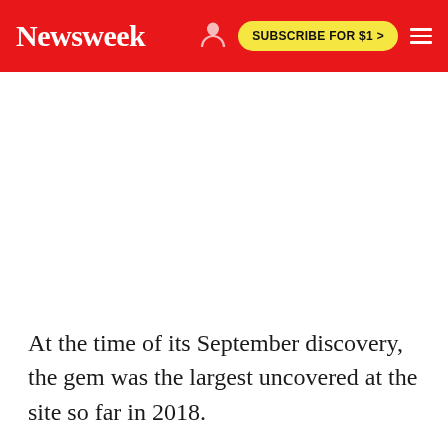Newsweek | SUBSCRIBE FOR $1 >
At the time of its September discovery, the gem was the largest uncovered at the site so far in 2018.